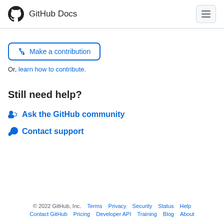GitHub Docs
⇄ Make a contribution
Or, learn how to contribute.
Still need help?
Ask the GitHub community
Contact support
© 2022 GitHub, Inc.  Terms  Privacy  Security  Status  Help  Contact GitHub  Pricing  Developer API  Training  Blog  About